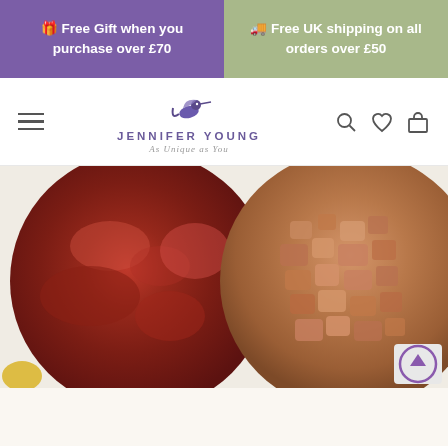🎁 Free Gift when you purchase over £70
🚚 Free UK shipping on all orders over £50
[Figure (logo): Jennifer Young logo with hummingbird icon and tagline 'As Unique as You']
[Figure (photo): Two circular close-up images of mineral makeup powder — left circle shows deep red/burgundy shimmer powder, right circle shows copper/bronze crumbled powder texture]
< • ○ ○ ○ ○ >